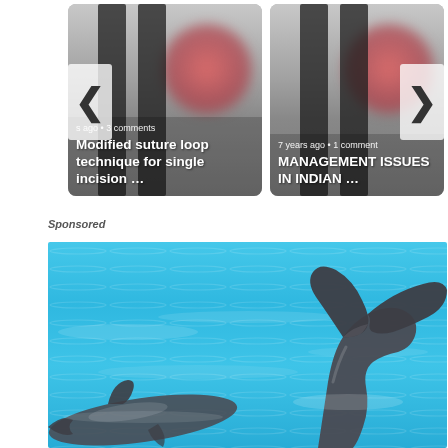[Figure (screenshot): Carousel card showing blurred medical journal logo background with text 'Modified suture loop technique for single incision …' and metadata 's ago · 3 comments']
[Figure (screenshot): Carousel card showing blurred medical journal logo background with text 'MANAGEMENT ISSUES IN INDIAN …' and metadata '7 years ago · 1 comment']
Sponsored
[Figure (photo): Photo of dolphins in blue water, showing two dolphin tails/fins above the water surface]